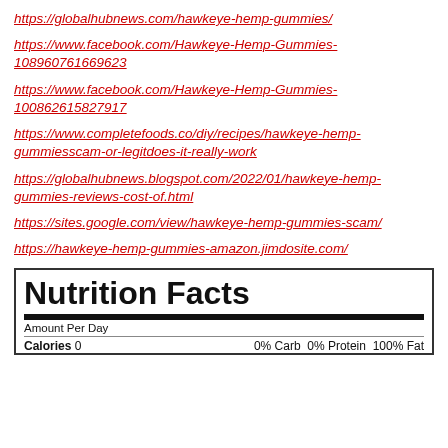https://globalhubnews.com/hawkeye-hemp-gummies/
https://www.facebook.com/Hawkeye-Hemp-Gummies-108960761669623
https://www.facebook.com/Hawkeye-Hemp-Gummies-100862615827917
https://www.completefoods.co/diy/recipes/hawkeye-hemp-gummiesscam-or-legitdoes-it-really-work
https://globalhubnews.blogspot.com/2022/01/hawkeye-hemp-gummies-reviews-cost-of.html
https://sites.google.com/view/hawkeye-hemp-gummies-scam/
https://hawkeye-hemp-gummies-amazon.jimdosite.com/
| Nutrition Facts |
| --- |
| Amount Per Day |
| Calories 0 | 0% Carb  0% Protein  100% Fat |